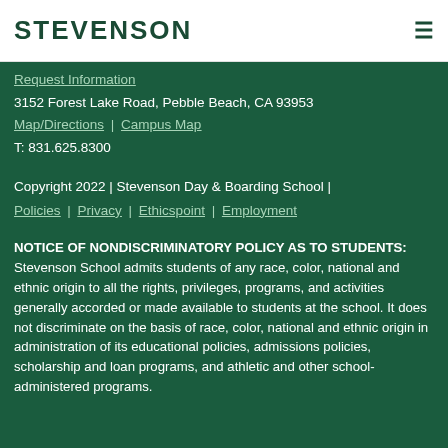STEVENSON
Request Information
3152 Forest Lake Road, Pebble Beach, CA 93953
Map/Directions | Campus Map
T: 831.625.8300
Copyright 2022 | Stevenson Day & Boarding School | Policies | Privacy | Ethicspoint | Employment
NOTICE OF NONDISCRIMINATORY POLICY AS TO STUDENTS: Stevenson School admits students of any race, color, national and ethnic origin to all the rights, privileges, programs, and activities generally accorded or made available to students at the school. It does not discriminate on the basis of race, color, national and ethnic origin in administration of its educational policies, admissions policies, scholarship and loan programs, and athletic and other school-administered programs.